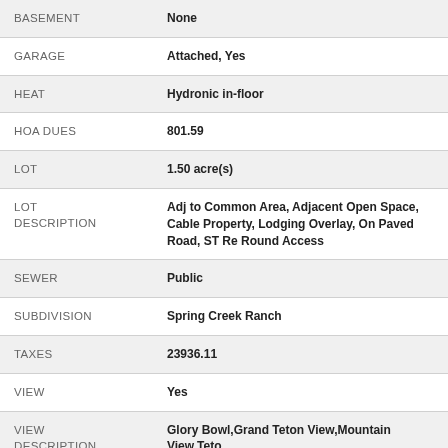| Field | Value |
| --- | --- |
| BASEMENT | None |
| GARAGE | Attached, Yes |
| HEAT | Hydronic in-floor |
| HOA DUES | 801.59 |
| LOT | 1.50 acre(s) |
| LOT DESCRIPTION | Adj to Common Area, Adjacent Open Space, Cable Property, Lodging Overlay, On Paved Road, ST Re Round Access |
| SEWER | Public |
| SUBDIVISION | Spring Creek Ranch |
| TAXES | 23936.11 |
| VIEW | Yes |
| VIEW DESCRIPTION | Glory Bowl,Grand Teton View,Mountain View,Teto |
| WATER | Private (Community) |
| ZONING | Resort |